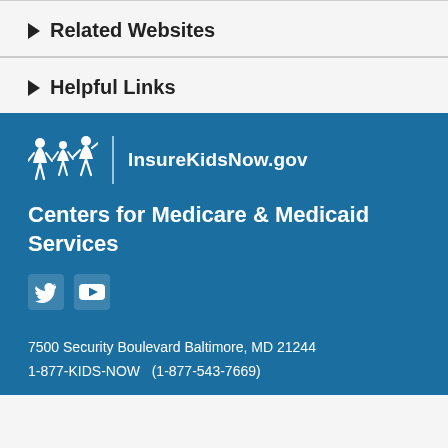Related Websites
Helpful Links
[Figure (logo): InsureKidsNow.gov logo with stylized figures of children and adults in white, followed by vertical divider and text 'InsureKidsNow.gov']
Centers for Medicare & Medicaid Services
[Figure (other): Twitter bird icon and YouTube play button icon, both in white]
7500 Security Boulevard Baltimore, MD 21244
1-877-KIDS-NOW  (1-877-543-7669)